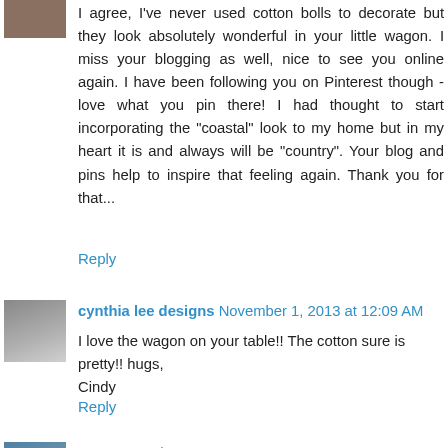I agree, I've never used cotton bolls to decorate but they look absolutely wonderful in your little wagon. I miss your blogging as well, nice to see you online again. I have been following you on Pinterest though - love what you pin there! I had thought to start incorporating the "coastal" look to my home but in my heart it is and always will be "country". Your blog and pins help to inspire that feeling again. Thank you for that...
Reply
cynthia lee designs  November 1, 2013 at 12:09 AM
I love the wagon on your table!! The cotton sure is pretty!! hugs,
Cindy
Reply
Pam  November 1, 2013 at 9:13 AM
Hello Dru! How I love your beautiful little wagon full of cotton! I can just picture it decorated for every holiday